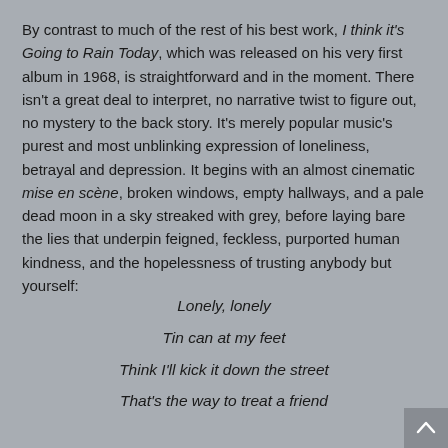By contrast to much of the rest of his best work, I think it's Going to Rain Today, which was released on his very first album in 1968, is straightforward and in the moment. There isn't a great deal to interpret, no narrative twist to figure out, no mystery to the back story. It's merely popular music's purest and most unblinking expression of loneliness, betrayal and depression. It begins with an almost cinematic mise en scène, broken windows, empty hallways, and a pale dead moon in a sky streaked with grey, before laying bare the lies that underpin feigned, feckless, purported human kindness, and the hopelessness of trusting anybody but yourself:
Lonely, lonely
Tin can at my feet
Think I'll kick it down the street
That's the way to treat a friend